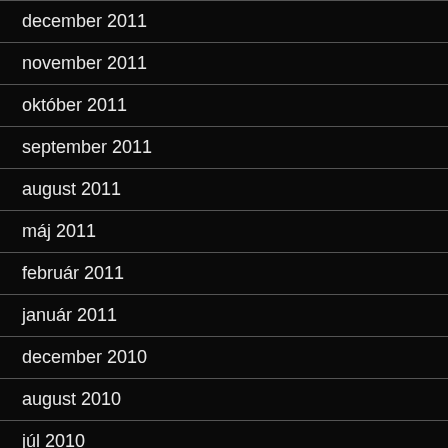december 2011
november 2011
október 2011
september 2011
august 2011
máj 2011
február 2011
január 2011
december 2010
august 2010
júl 2010
jún 2010